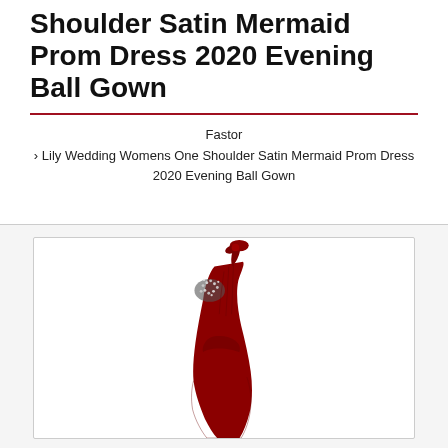Shoulder Satin Mermaid Prom Dress 2020 Evening Ball Gown
Fastor
› Lily Wedding Womens One Shoulder Satin Mermaid Prom Dress 2020 Evening Ball Gown
[Figure (photo): Product photo of a deep red/burgundy one-shoulder satin mermaid prom dress with rhinestone/crystal embellishments on the bust area and a bow detail at the shoulder. The dress is displayed on a mannequin or form against a white background.]